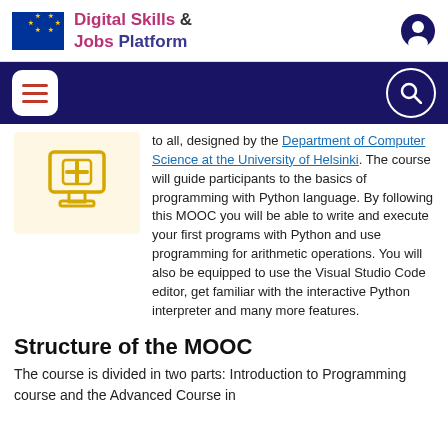Digital Skills & Jobs Platform
[Figure (logo): EU flag and Digital Skills & Jobs Platform logo with user icon]
[Figure (illustration): Navigation bar with hamburger menu and search icon on dark navy background]
[Figure (illustration): Yellow icon of a computer with a plus/cross symbol on a cream background]
to all, designed by the Department of Computer Science at the University of Helsinki. The course will guide participants to the basics of programming with Python language. By following this MOOC you will be able to write and execute your first programs with Python and use programming for arithmetic operations. You will also be equipped to use the Visual Studio Code editor, get familiar with the interactive Python interpreter and many more features.
Structure of the MOOC
The course is divided in two parts: Introduction to Programming course and the Advanced Course in